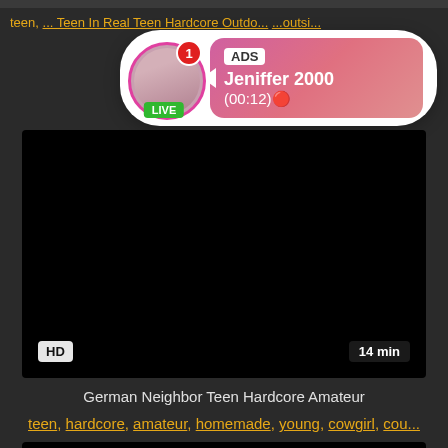teen, ... outsi....
[Figure (screenshot): Ad popup overlay showing a live user profile named 'Jeniffer 2000' with avatar, LIVE badge, notification badge, and timer (00:12)]
[Figure (screenshot): Black video player block labeled HD with duration 14 min]
German Neighbor Teen Hardcore Amateur
teen, hardcore, amateur, homemade, young, cowgirl, cou...
[Figure (screenshot): Second black video player block at bottom]